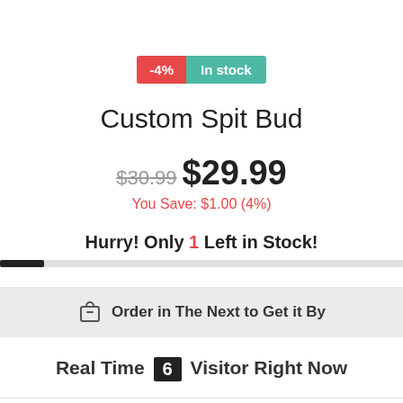-4%  In stock
Custom Spit Bud
$30.99  $29.99
You Save: $1.00 (4%)
Hurry! Only 1 Left in Stock!
Order in The Next to Get it By
Real Time 6 Visitor Right Now